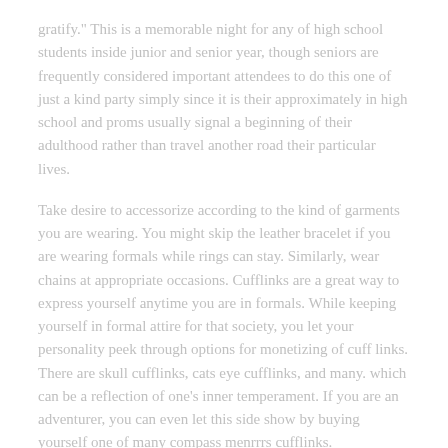gratify." This is a memorable night for any of high school students inside junior and senior year, though seniors are frequently considered important attendees to do this one of just a kind party simply since it is their approximately in high school and proms usually signal a beginning of their adulthood rather than travel another road their particular lives.
Take desire to accessorize according to the kind of garments you are wearing. You might skip the leather bracelet if you are wearing formals while rings can stay. Similarly, wear chains at appropriate occasions. Cufflinks are a great way to express yourself anytime you are in formals. While keeping yourself in formal attire for that society, you let your personality peek through options for monetizing of cuff links. There are skull cufflinks, cats eye cufflinks, and many. which can be a reflection of one's inner temperament. If you are an adventurer, you can even let this side show by buying yourself one of many compass menrrrs cufflinks.
Pictures could be carried on key chains. Is definitely right. There